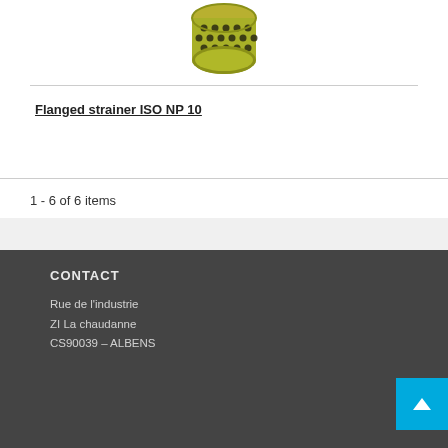[Figure (photo): Cylindrical perforated metal filter basket (flanged strainer) with greenish-yellow finish, viewed from above at an angle]
Flanged strainer ISO NP 10
1 - 6 of 6 items
CONTACT
Rue de l'industrie
ZI La chaudanne
CS90039 – ALBENS